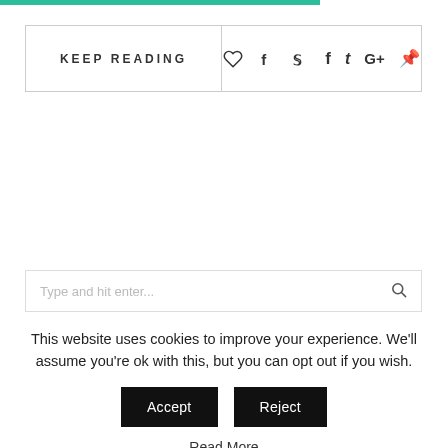KEEP READING
Type and hit enter...
This website uses cookies to improve your experience. We'll assume you're ok with this, but you can opt out if you wish.
Accept
Reject
Read More